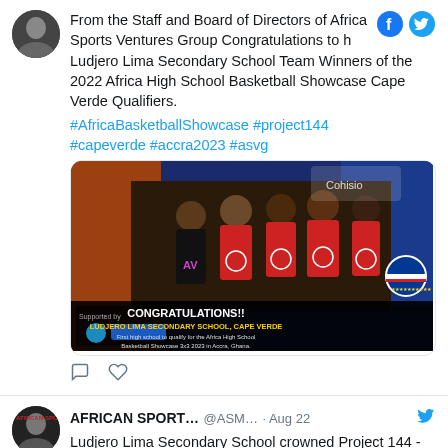From the Staff and Board of Directors of Africa Sports Ventures Group Congratulations to the Ludjero Lima Secondary School Team Winners of the 2022 Africa High School Basketball Showcase Cape Verde Qualifiers.
#AfricaBasketballShowcase #project144 #capeverde #accra2023 #asvg
[Figure (photo): Group photo of basketball team in red shirts with text overlay: CONGRATULATIONS!! LUDJERO LIMA SECONDARY SCHOOL, CAPE VERDE. First high school to qualify for the Africa High School Basketball Showcase 3x3 2023 in Accra, Ghana. Supported by logos visible at bottom left. Cape Verde flag at bottom right.]
AFRICAN SPORT... @ASM... · Aug 22
Ludjero Lima Secondary School crowned Project 144 - Africa High School Basketball Showcase 3x3 champion for Cape Verde -